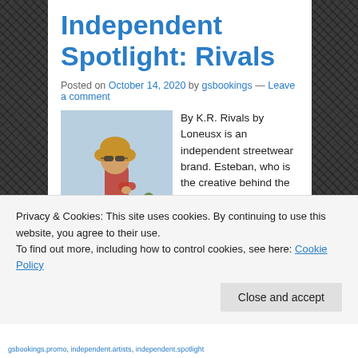Independent Spotlight: Rivals
Posted on October 14, 2020 by gsbookings — Leave a comment
[Figure (photo): A person with curly hair wearing goggles, leaning on a vehicle with a red component, outdoor scene.]
By K.R. Rivals by Loneusx is an independent streetwear brand. Esteban, who is the creative behind the brand was inspired through his love of music, movies and photography. He enjoys
Privacy & Cookies: This site uses cookies. By continuing to use this website, you agree to their use.
To find out more, including how to control cookies, see here: Cookie Policy
Close and accept
gsbookings.promo, independent.artists, independent.spotlight